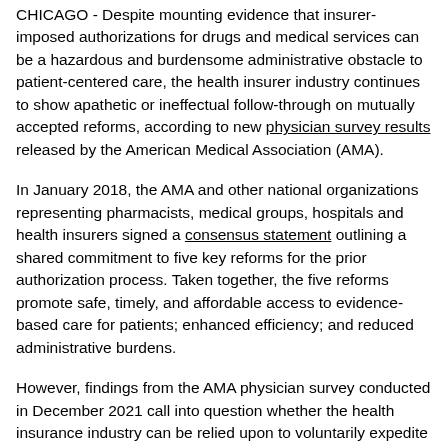CHICAGO - Despite mounting evidence that insurer-imposed authorizations for drugs and medical services can be a hazardous and burdensome administrative obstacle to patient-centered care, the health insurer industry continues to show apathetic or ineffectual follow-through on mutually accepted reforms, according to new physician survey results released by the American Medical Association (AMA).
In January 2018, the AMA and other national organizations representing pharmacists, medical groups, hospitals and health insurers signed a consensus statement outlining a shared commitment to five key reforms for the prior authorization process. Taken together, the five reforms promote safe, timely, and affordable access to evidence-based care for patients; enhanced efficiency; and reduced administrative burdens.
However, findings from the AMA physician survey conducted in December 2021 call into question whether the health insurance industry can be relied upon to voluntarily expedite comprehensive reform to the cumbersome prior authorization process that delays and disrupts patient-centric care.
“Waiting on a health plan to authorize necessary medical treatment is too